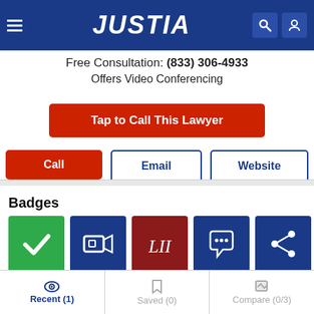[Figure (screenshot): Justia website header with hamburger menu, JUSTIA logo, search icon, and user icon on dark blue background]
Free Consultation: (833) 306-4933
Offers Video Conferencing
Tap to Call This Lawyer
Call
Email
Website
Badges
[Figure (illustration): Five badges: green checkmark badge, blue video camera badge, dark red LII badge, blue chat bubble badge, blue share badge]
Recent (1)
Saved (0)
Compare (0/3)